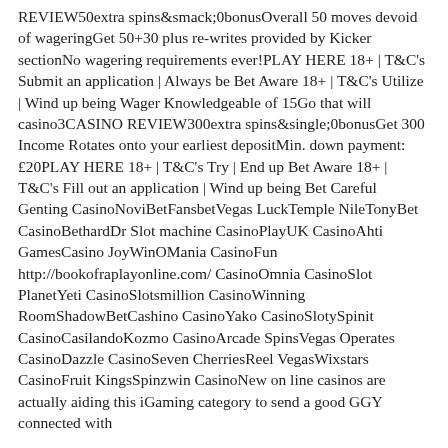REVIEW50extra spins&smack;0bonusOverall 50 moves devoid of wageringGet 50+30 plus re-writes provided by Kicker sectionNo wagering requirements ever!PLAY HERE 18+ | T&C's Submit an application | Always be Bet Aware 18+ | T&C's Utilize | Wind up being Wager Knowledgeable of 15Go that will casino3CASINO REVIEW300extra spins&single;0bonusGet 300 Income Rotates onto your earliest depositMin. down payment: £20PLAY HERE 18+ | T&C's Try | End up Bet Aware 18+ | T&C's Fill out an application | Wind up being Bet Careful Genting CasinoNoviBetFansbetVegas LuckTemple NileTonyBet CasinoBethardDr Slot machine CasinoPlayUK CasinoAhti GamesCasino JoyWinOMania CasinoFun http://bookofraplayonline.com/ CasinoOmnia CasinoSlot PlanetYeti CasinoSlotsmillion CasinoWinning RoomShadowBetCashino CasinoYako CasinoSlotySpinit CasinoCasilandoKozmo CasinoArcade SpinsVegas Operates CasinoDazzle CasinoSeven CherriesReel VegasWixstars CasinoFruit KingsSpinzwin CasinoNew on line casinos are actually aiding this iGaming category to send a good GGY connected with